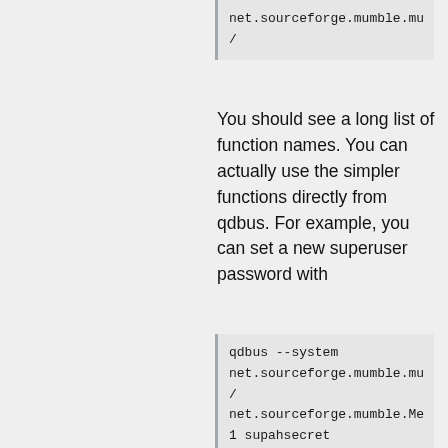net.sourceforge.mumble.mu
/
You should see a long list of function names. You can actually use the simpler functions directly from qdbus. For example, you can set a new superuser password with
qdbus --system
net.sourceforge.mumble.mu
/
net.sourceforge.mumble.Me
1 supahsecret
If you don't have qdbus, try this
dbus-send --system --
dest=net.sourceforge.mumb
--type=method_call --